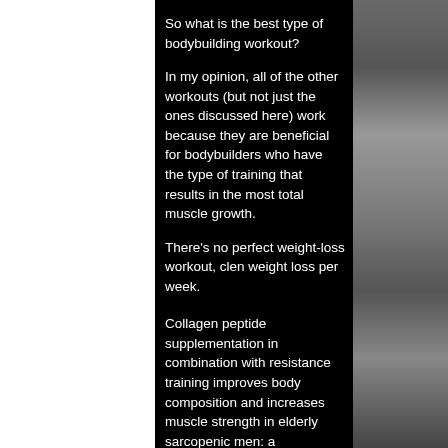So what is the best type of bodybuilding workout?
In my opinion, all of the other workouts (but not just the ones discussed here) work because they are beneficial for bodybuilders who have the type of training that results in the most total muscle growth.
There's no perfect weight-loss workout, clen weight loss per week.
Collagen peptide supplementation in combination with resistance training improves body composition and increases muscle strength in elderly sarcopenic men: a randomised controlled trial, European Journal of Clinical Nutrition , 77 , 5 , (664) , .
Xiangyun Liu and Effects of diet